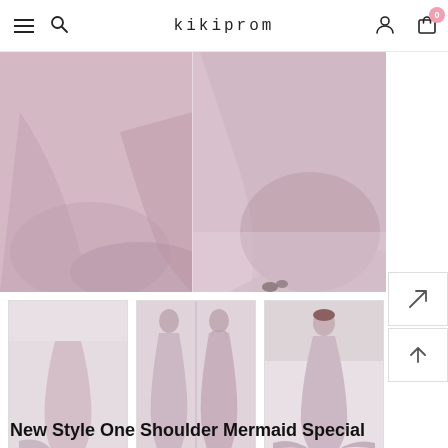kikiprom
[Figure (photo): Main product image showing a mauve/dusty pink mermaid prom dress from two angles — close-up of the flowing train fabric with a woman walking away]
[Figure (photo): Thumbnail 1: Full-length view of woman in pale pink mermaid dress facing away]
[Figure (photo): Thumbnail 2: Two views of woman in dusty pink one-shoulder mermaid gown]
[Figure (photo): Thumbnail 3: Full-length front and side view of woman in dusty pink mermaid gown]
New Style One Shoulder Mermaid Special